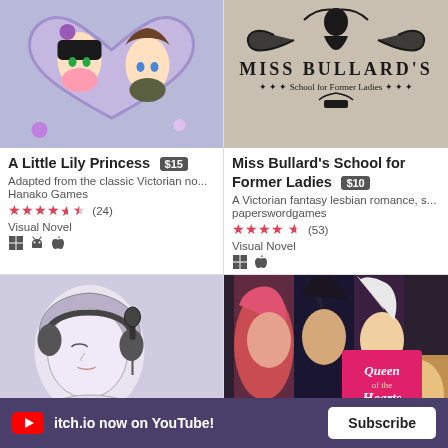[Figure (illustration): Anime-style artwork showing two girls framed in a heart shape with floral decorations - cover art for A Little Lily Princess]
A Little Lily Princess $15
Adapted from the classic Victorian no...
Hanako Games
★★★★½ (24)
Visual Novel
[Figure (illustration): Black and white logo for Miss Bullard's School for Former Ladies on a beige background, with a silhouette of a woman and ornate decorations]
Miss Bullard's School for Former Ladies $10
A Victorian fantasy lesbian romance, s...
paperswordgames
★★★★½ (53)
Visual Novel
[Figure (illustration): Sketch-style artwork of a person with headphones and microphone, purple/lavender tones]
[Figure (illustration): Colorful fantasy artwork showing multiple characters with a Queen of Hearts logo in the center]
itch.io now on YouTube! Subscribe